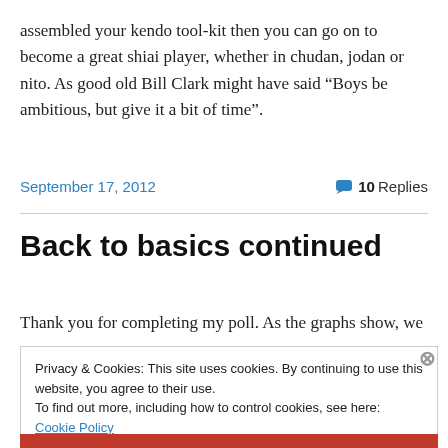assembled your kendo tool-kit then you can go on to become a great shiai player, whether in chudan, jodan or nito. As good old Bill Clark might have said “Boys be ambitious, but give it a bit of time”.
September 17, 2012
10 Replies
Back to basics continued
Thank you for completing my poll. As the graphs show, we
Privacy & Cookies: This site uses cookies. By continuing to use this website, you agree to their use.
To find out more, including how to control cookies, see here: Cookie Policy
Close and accept